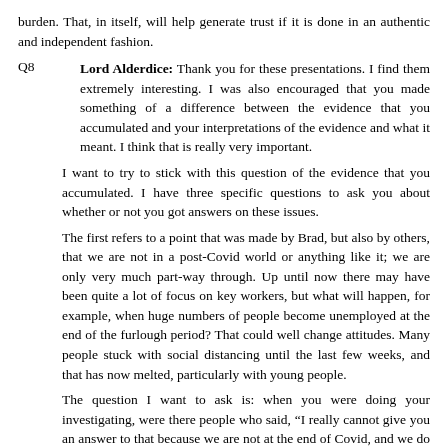burden. That, in itself, will help generate trust if it is done in an authentic and independent fashion.
Q8   Lord Alderdice: Thank you for these presentations. I find them extremely interesting. I was also encouraged that you made something of a difference between the evidence that you accumulated and your interpretations of the evidence and what it meant. I think that is really very important.
I want to try to stick with this question of the evidence that you accumulated. I have three specific questions to ask you about whether or not you got answers on these issues.
The first refers to a point that was made by Brad, but also by others, that we are not in a post-Covid world or anything like it; we are only very much part-way through. Up until now there may have been quite a lot of focus on key workers, but what will happen, for example, when huge numbers of people become unemployed at the end of the furlough period? That could well change attitudes. Many people stuck with social distancing until the last few weeks, and that has now melted, particularly with young people.
The question I want to ask is: when you were doing your investigating, were there people who said, “I really cannot give you an answer to that because we are not at the end of Covid, and we do not know what will happen with Covid”? That is the first question. Did people realise that we are only on our way